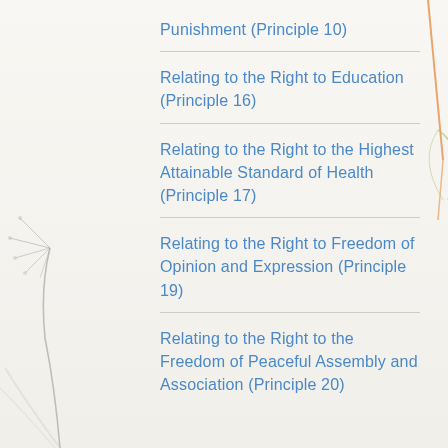Punishment (Principle 10)
Relating to the Right to Education (Principle 16)
Relating to the Right to the Highest Attainable Standard of Health (Principle 17)
Relating to the Right to Freedom of Opinion and Expression (Principle 19)
Relating to the Right to the Freedom of Peaceful Assembly and Association (Principle 20)